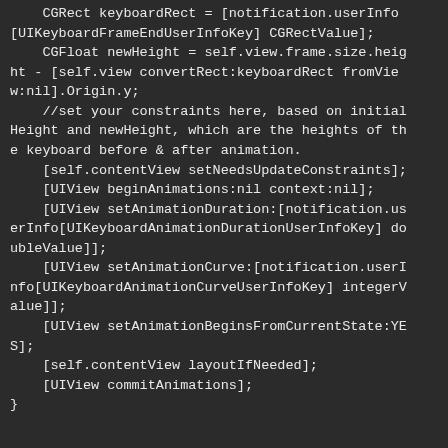[Figure (screenshot): Dark-themed code editor screenshot showing Objective-C code snippet for handling keyboard frame changes, setting animation constraints, and committing UIView animations.]